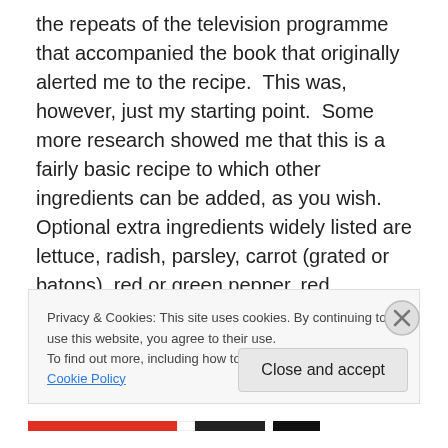the repeats of the television programme that accompanied the book that originally alerted me to the recipe.  This was, however, just my starting point.  Some more research showed me that this is a fairly basic recipe to which other ingredients can be added, as you wish.  Optional extra ingredients widely listed are lettuce, radish, parsley, carrot (grated or batons), red or green pepper, red cabbage, black olives or pomegranite seeds (or arils): I particularly like the sound of this final idea. Feta cheese is another optional ingredient which would make this a more substantial salad (in fact this recipe is not unlike Greek
Privacy & Cookies: This site uses cookies. By continuing to use this website, you agree to their use.
To find out more, including how to control cookies, see here: Cookie Policy
Close and accept